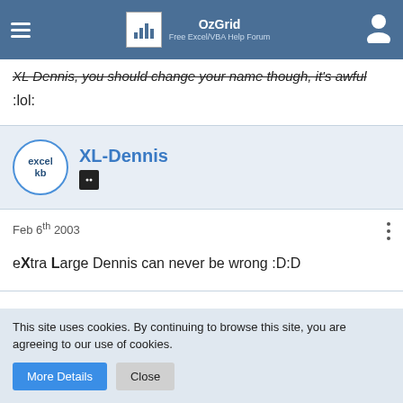OzGrid Free Excel/VBA Help Forum
XL Dennis, you should change your name though, it's awful
:lol:
XL-Dennis
Feb 6th 2003
eXtra Large Dennis can never be wrong :D:D
This site uses cookies. By continuing to browse this site, you are agreeing to our use of cookies.